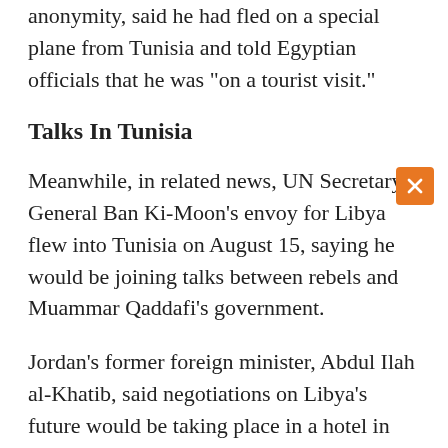anonymity, said he had fled on a special plane from Tunisia and told Egyptian officials that he was "on a tourist visit."
Talks In Tunisia
Meanwhile, in related news, UN Secretary General Ban Ki-Moon's envoy for Libya flew into Tunisia on August 15, saying he would be joining talks between rebels and Muammar Qaddafi's government.
Jordan's former foreign minister, Abdul Ilah al-Khatib, said negotiations on Libya's future would be taking place in a hotel in the capital, Tunis.
Earlier, unnamed sources close to Tunisian